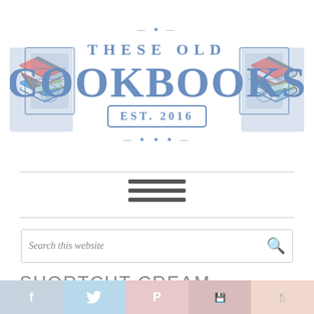[Figure (logo): These Old Cookbooks logo — blue decorative text with cookbook illustrations on either side, 'THESE OLD' above large 'COOKBOOKS' text, 'EST. 2016' in a bordered badge at the bottom, all in blue]
[Figure (other): Hamburger menu icon — three horizontal dark gray bars]
Search this website
SHORTCUT CREAM CHEESE DANISH
[Figure (other): Social share bar with five buttons: Facebook (f), Twitter (bird), Pinterest (P), Save, and Yum icons in pastel colors]